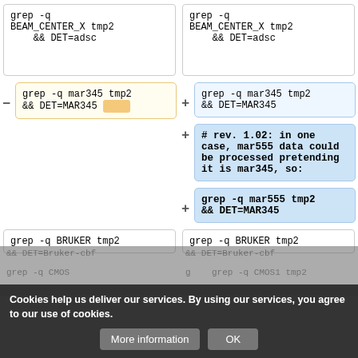[Figure (screenshot): Diff view showing code comparison with removed (yellow) and added (blue) blocks. Left column shows removed code, right column shows added code. Content includes shell script fragments with grep commands for detector type detection (BEAM_CENTER_X, mar345, mar555, BRUKER, CMOS1). A cookie consent banner overlays the bottom portion.]
grep -q
BEAM_CENTER_X tmp2
&& DET=adsc
grep -q
BEAM_CENTER_X tmp2
&& DET=adsc
grep -q mar345 tmp2
&& DET=MAR345
grep -q mar345 tmp2
&& DET=MAR345
# rev. 1.02: in one case, mar555 data could be processed pretending it is mar345, so:
grep -q mar555 tmp2
&& DET=MAR345
grep -q BRUKER tmp2
grep -q BRUKER tmp2
Cookies help us deliver our services. By using our services, you agree to our use of cookies.